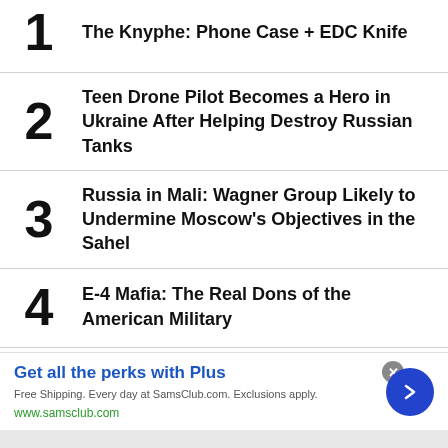1 The Knyphe: Phone Case + EDC Knife
2 Teen Drone Pilot Becomes a Hero in Ukraine After Helping Destroy Russian Tanks
3 Russia in Mali: Wagner Group Likely to Undermine Moscow's Objectives in the Sahel
4 E-4 Mafia: The Real Dons of the American Military
[Figure (screenshot): Advertisement banner for Sam's Club Plus membership. Headline: 'Get all the perks with Plus'. Body: 'Free Shipping. Every day at SamsClub.com. Exclusions apply.' URL: www.samsclub.com. Blue circle arrow button on right. Close button (x) top right.]